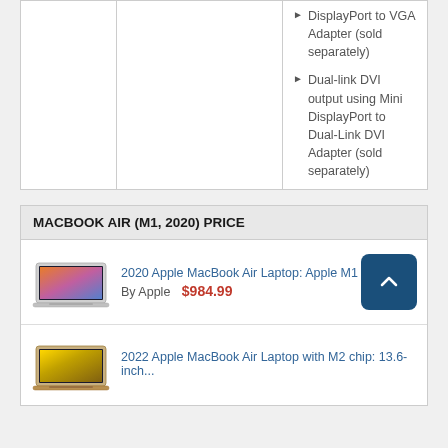DisplayPort to VGA Adapter (sold separately)
Dual-link DVI output using Mini DisplayPort to Dual-Link DVI Adapter (sold separately)
HDMI audio and video output using third-party Mini DisplayPort to HDMI Adapter (sold separately)
MACBOOK AIR (M1, 2020) PRICE
2020 Apple MacBook Air Laptop: Apple M1 Chip, 13'
By Apple   $984.99
2022 Apple MacBook Air Laptop with M2 chip: 13.6-inch...